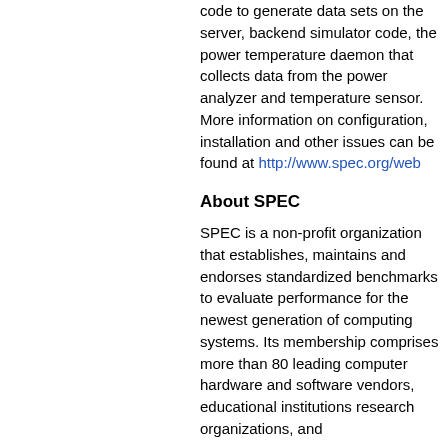code to generate data sets on the server, backend simulator code, the power temperature daemon that collects data from the power analyzer and temperature sensor. More information on configuration, installation and other issues can be found at http://www.spec.org/web
About SPEC
SPEC is a non-profit organization that establishes, maintains and endorses standardized benchmarks to evaluate performance for the newest generation of computing systems. Its membership comprises more than 80 leading computer hardware and software vendors, educational institutions, research organizations, and